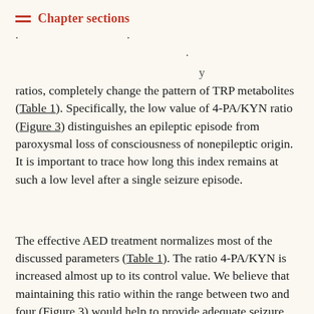Chapter sections
ratios, completely change the pattern of TRP metabolites (Table 1). Specifically, the low value of 4-PA/KYN ratio (Figure 3) distinguishes an epileptic episode from paroxysmal loss of consciousness of nonepileptic origin. It is important to trace how long this index remains at such a low level after a single seizure episode.
The effective AED treatment normalizes most of the discussed parameters (Table 1). The ratio 4-PA/KYN is increased almost up to its control value. We believe that maintaining this ratio within the range between two and four (Figure 3) would help to provide adequate seizure control and reduce a risk of pharmacological overtreatment [45, 46]. However, increased levels of TRP, KA, and KYN,